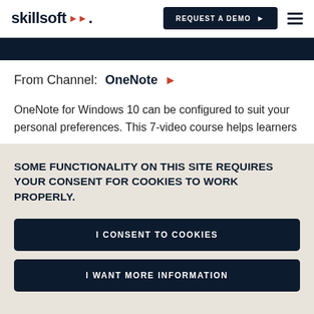skillsoft | REQUEST A DEMO
From Channel: OneNote
OneNote for Windows 10 can be configured to suit your personal preferences. This 7-video course helps learners
SOME FUNCTIONALITY ON THIS SITE REQUIRES YOUR CONSENT FOR COOKIES TO WORK PROPERLY.
I CONSENT TO COOKIES
I WANT MORE INFORMATION